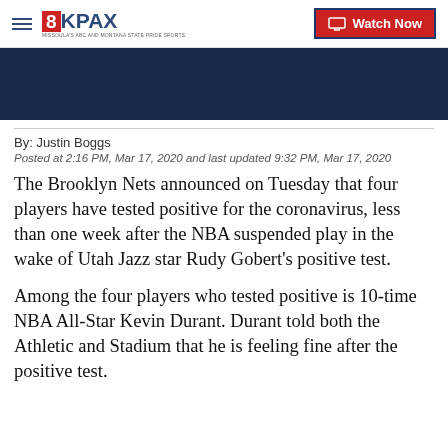8KPAX  Watch Now
[Figure (screenshot): Dark navy blue video thumbnail placeholder]
By: Justin Boggs
Posted at 2:16 PM, Mar 17, 2020 and last updated 9:32 PM, Mar 17, 2020
The Brooklyn Nets announced on Tuesday that four players have tested positive for the coronavirus, less than one week after the NBA suspended play in the wake of Utah Jazz star Rudy Gobert's positive test.
Among the four players who tested positive is 10-time NBA All-Star Kevin Durant. Durant told both the Athletic and Stadium that he is feeling fine after the positive test.